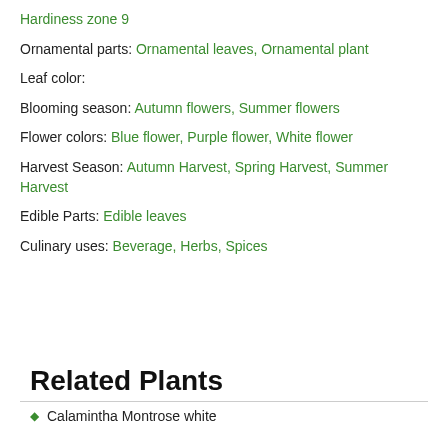Hardiness zone 9
Ornamental parts: Ornamental leaves, Ornamental plant
Leaf color:
Blooming season: Autumn flowers, Summer flowers
Flower colors: Blue flower, Purple flower, White flower
Harvest Season: Autumn Harvest, Spring Harvest, Summer Harvest
Edible Parts: Edible leaves
Culinary uses: Beverage, Herbs, Spices
Related Plants
Calamintha Montrose white